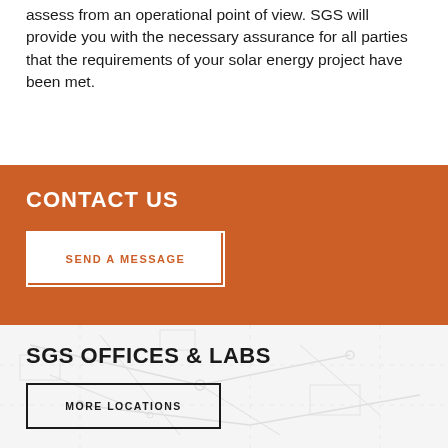assess from an operational point of view. SGS will provide you with the necessary assurance for all parties that the requirements of your solar energy project have been met.
CONTACT US
SEND A MESSAGE
SGS OFFICES & LABS
MORE LOCATIONS